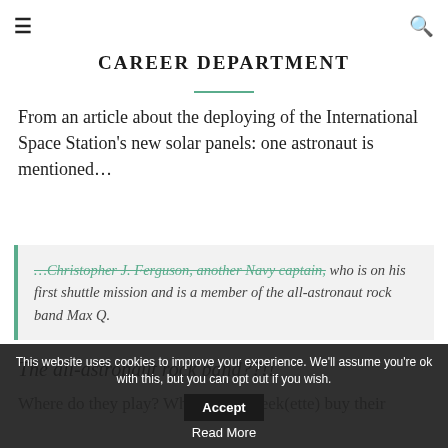≡  CAREER DEPARTMENT  🔍
From an article about the deploying of the International Space Station's new solar panels: one astronaut is mentioned…
…Christopher J. Ferguson, another Navy captain, who is on his first shuttle mission and is a member of the all-astronaut rock band Max Q.
The all-astronaut rock band??!!
Where do they play? Where can a geek(ette) buy their
This website uses cookies to improve your experience. We'll assume you're ok with this, but you can opt out if you wish. Accept
Read More